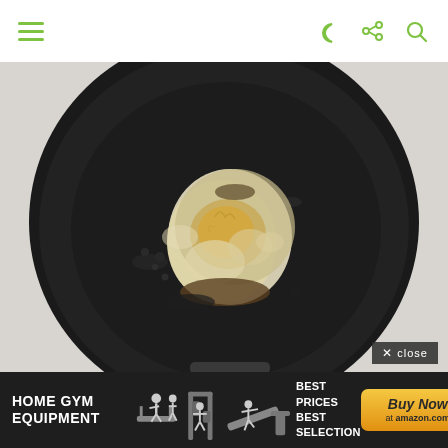[Figure (screenshot): Website navigation bar with green hamburger menu icon on the left and three green icons (crescent/dark mode, share, search) on the right, on a white background]
[Figure (photo): Overhead view of a fried egg in a black cast iron pan or wok, egg appears well-done/crispy on the edges, shot from directly above on a white/grey surface]
[Figure (screenshot): Close button overlay in dark semi-transparent background reading 'x close' in white text, positioned at bottom right of photo]
[Figure (screenshot): Advertisement banner for Home Gym Equipment showing silhouettes of fitness equipment and people exercising, with text 'BEST PRICES BEST SELECTION' and an orange 'Buy Now at amazon.com' button]